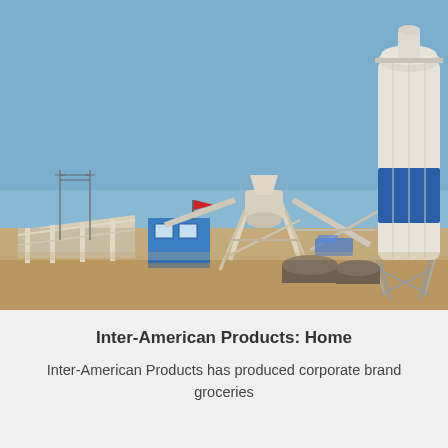[Figure (photo): Photograph of an industrial concrete batching plant with a large white and blue cylindrical silo on the right, a central mixing tower structure with conveyor/support frames, a small blue portable office cabin on the left, and open earthen ground. Clear blue sky in the background.]
Inter-American Products: Home
Inter-American Products has produced corporate brand groceries